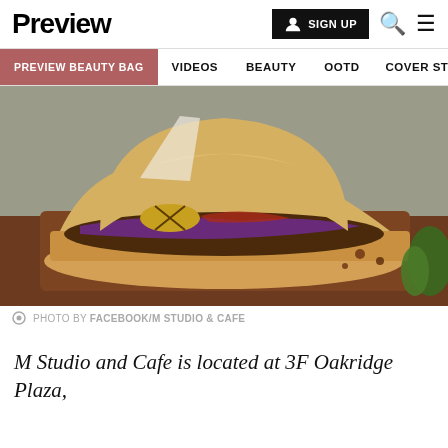Preview | SIGN UP
PREVIEW BEAUTY BAG | VIDEOS | BEAUTY | OOTD | COVER STORIES
[Figure (photo): Close-up food photo of a large sandwich/sub with pulled meat, purple cabbage slaw, grilled pineapple, and toppings on a wooden cutting board]
PHOTO BY FACEBOOK/M STUDIO & CAFE
M Studio and Cafe is located at 3F Oakridge Plaza,